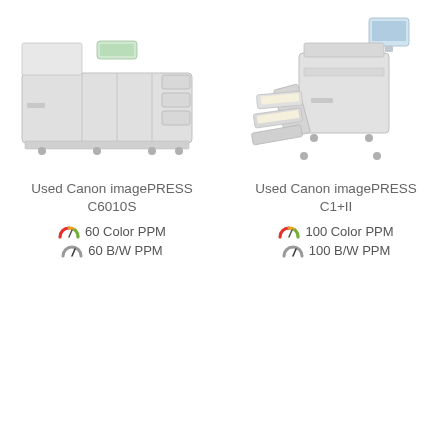[Figure (photo): Used Canon imagePRESS C6010S large-format production printer, wide unit in light grey with control panel on top]
[Figure (photo): Used Canon imagePRESS C1+II compact production printer with paper trays open, in light grey with monitor on top]
Used Canon imagePRESS C6010S
60 Color PPM
60 B/W PPM
Used Canon imagePRESS C1+II
100 Color PPM
100 B/W PPM